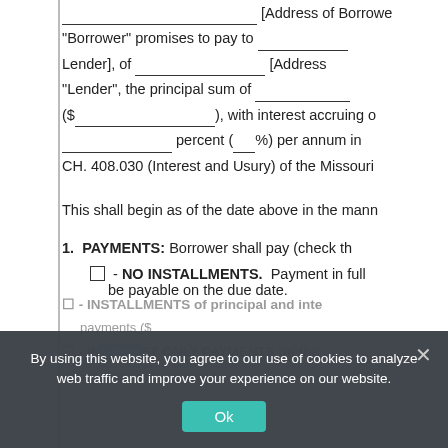[Address of Borrower
"Borrower" promises to pay to _______________
Lender], of ___________________ [Address
"Lender", the principal sum of _______________
($___________________), with interest accruing a
___________________ percent (___%) per annum in
CH. 408.030 (Interest and Usury) of the Missouri
This shall begin as of the date above in the mann
1. PAYMENTS: Borrower shall pay (check th
☐ - NO INSTALLMENTS. Payment in full ... be payable on the due date.
☐ - INSTALLMENTS of principal and inte... payments ($...
☐ - INTEREST ONLY PAYMENTS on the
If installments are selected...
By using this website, you agree to our use of cookies to analyze web traffic and improve your experience on our website.
Ok